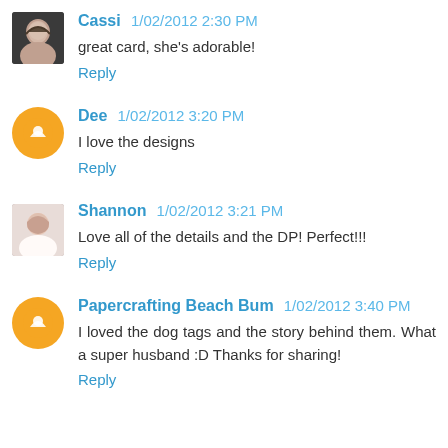Cassi 1/02/2012 2:30 PM
great card, she's adorable!
Reply
Dee 1/02/2012 3:20 PM
I love the designs
Reply
Shannon 1/02/2012 3:21 PM
Love all of the details and the DP! Perfect!!!
Reply
Papercrafting Beach Bum 1/02/2012 3:40 PM
I loved the dog tags and the story behind them. What a super husband :D Thanks for sharing!
Reply